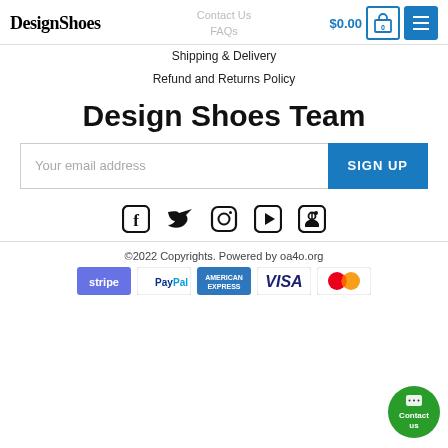DesignShoes | Contact Us | FAQs | $0.00 cart
Shipping & Delivery
Refund and Returns Policy
Design Shoes Team
Your email address [SIGN UP]
[Figure (infographic): Social media icons: Facebook, Twitter, Instagram, YouTube, Pinterest]
©2022 Copyrights. Powered by oa4o.org
[Figure (infographic): Payment method logos: Stripe, PayPal, American Express, Visa, Mastercard]